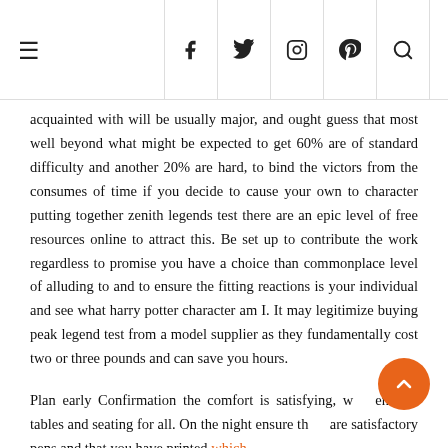≡  f  𝕥  📷  𝗽  🔍
acquainted with will be usually major, and ought guess that most well beyond what might be expected to get 60% are of standard difficulty and another 20% are hard, to bind the victors from the consumes of time if you decide to cause your own to character putting together zenith legends test there are an epic level of free resources online to attract this. Be set up to contribute the work regardless to promise you have a choice than commonplace level of alluding to and to ensure the fitting reactions is your individual and see what harry potter character am I. It may legitimize buying peak legend test from a model supplier as they fundamentally cost two or three pounds and can save you hours.
Plan early Confirmation the comfort is satisfying, with enough tables and seating for all. On the night ensure there are satisfactory pens and that you have printed which